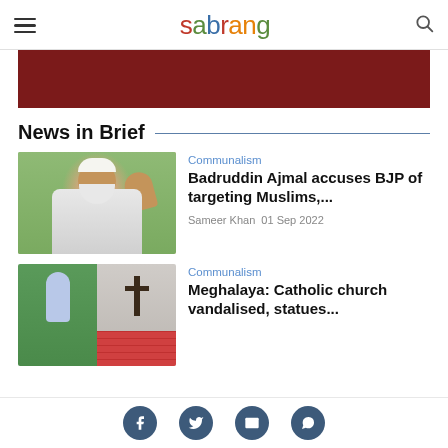sabrang
[Figure (other): Dark red/maroon banner image]
News in Brief
[Figure (photo): Photo of Badruddin Ajmal raising his hand]
Communalism
Badruddin Ajmal accuses BJP of targeting Muslims,...
Sameer Khan 01 Sep 2022
[Figure (photo): Photo of Catholic church with statues and cross]
Communalism
Meghalaya: Catholic church vandalised, statues...
Social share icons: Facebook, Twitter, Email, WhatsApp